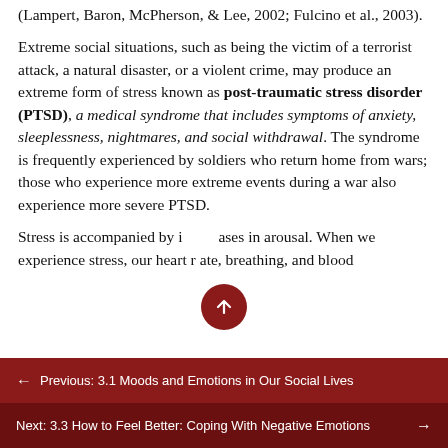(Lampert, Baron, McPherson, & Lee, 2002; Fulcino et al., 2003).
Extreme social situations, such as being the victim of a terrorist attack, a natural disaster, or a violent crime, may produce an extreme form of stress known as post-traumatic stress disorder (PTSD), a medical syndrome that includes symptoms of anxiety, sleeplessness, nightmares, and social withdrawal. The syndrome is frequently experienced by soldiers who return home from wars; those who experience more extreme events during a war also experience more severe PTSD.
Stress is accompanied by increases in arousal. When we experience stress, our heart rate, breathing, and blood
← Previous: 3.1 Moods and Emotions in Our Social Lives
Next: 3.3 How to Feel Better: Coping With Negative Emotions →